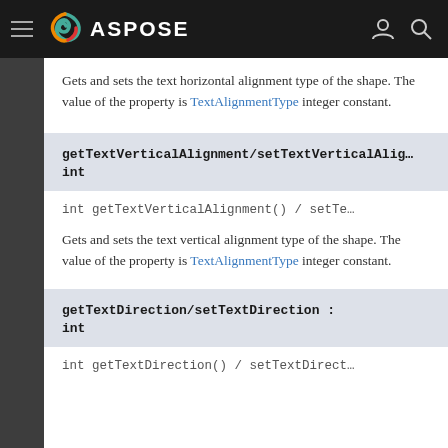ASPOSE
Gets and sets the text horizontal alignment type of the shape. The value of the property is TextAlignmentType integer constant.
getTextVerticalAlignment/setTextVerticalAlignment : int
int getTextVerticalAlignment() / setTe…
Gets and sets the text vertical alignment type of the shape. The value of the property is TextAlignmentType integer constant.
getTextDirection/setTextDirection : int
int getTextDirection() / setTextDirect…